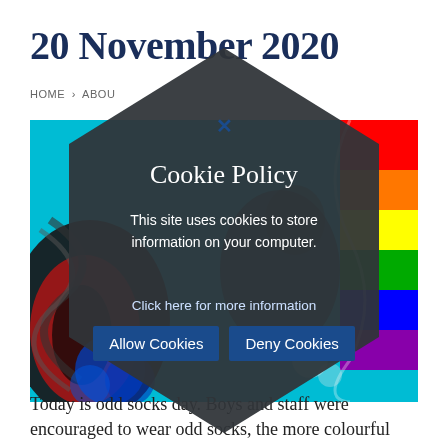20 November 2020
HOME > ABOU...
[Figure (screenshot): Cookie policy modal overlay with hexagon shape on a webpage showing colorful socks photo. The modal contains title 'Cookie Policy', text 'This site uses cookies to store information on your computer.', a link 'Click here for more information', and two buttons 'Allow Cookies' and 'Deny Cookies'.]
Today is odd socks day. Boys and staff were encouraged to wear odd socks, the more colourful